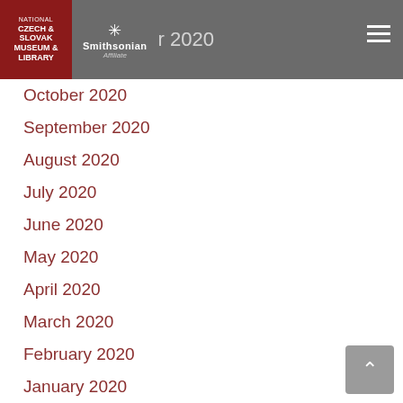National Czech & Slovak Museum & Library | Smithsonian Affiliate
October 2020
September 2020
August 2020
July 2020
June 2020
May 2020
April 2020
March 2020
February 2020
January 2020
November 2019
October 2019
September 2019
August 2019